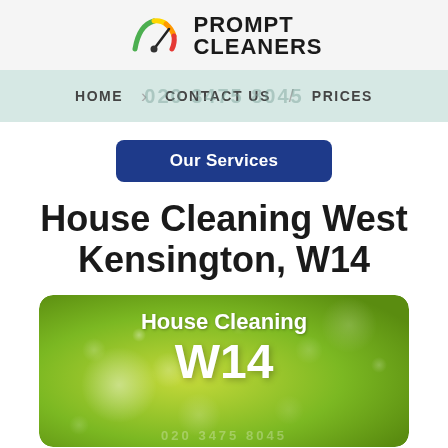[Figure (logo): Prompt Cleaners logo with speedometer-style icon in red, orange, yellow, green colors and bold black text reading PROMPT CLEANERS]
HOME  CONTACT US  PRICES
Our Services
House Cleaning West Kensington, W14
[Figure (illustration): Green gradient card with bokeh light circles showing text 'House Cleaning W14']